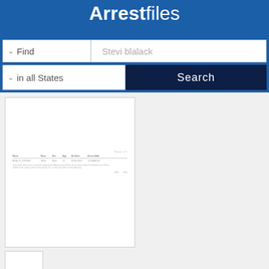[Figure (logo): ArrestFiles logo on blue background banner]
Find | Stevi blalack
in all States | Search
[Figure (screenshot): Blurred document preview showing arrest record table with columns for Name, Race, Sex, Age, Arrest Date, Arrest Address. Contains a data row for a person and a text paragraph below the table.]
[Figure (screenshot): Small thumbnail preview of a second document page]